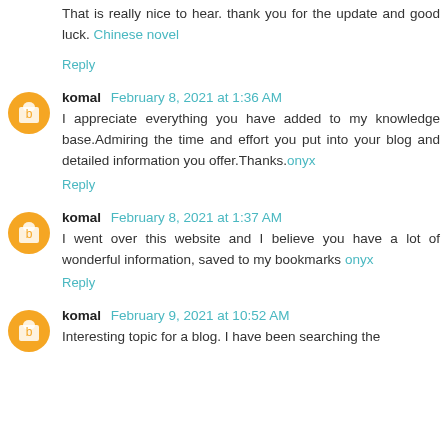That is really nice to hear. thank you for the update and good luck. Chinese novel
Reply
komal February 8, 2021 at 1:36 AM
I appreciate everything you have added to my knowledge base.Admiring the time and effort you put into your blog and detailed information you offer.Thanks.onyx
Reply
komal February 8, 2021 at 1:37 AM
I went over this website and I believe you have a lot of wonderful information, saved to my bookmarks onyx
Reply
komal February 9, 2021 at 10:52 AM
Interesting topic for a blog. I have been searching the